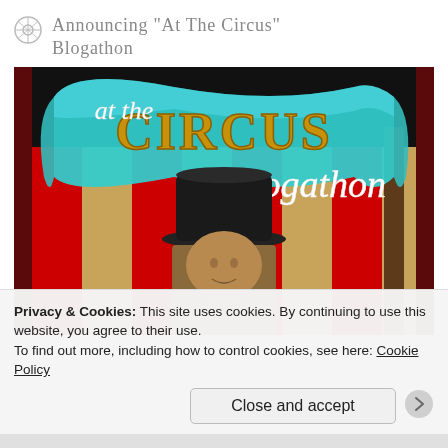Announcing “At the Circus” Blogathon
[Figure (illustration): Circus-themed blogathon promotional image with 'at the circus blogathon' text over a circus-tent striped background with a man wearing a top hat in the foreground.]
Privacy & Cookies: This site uses cookies. By continuing to use this website, you agree to their use.
To find out more, including how to control cookies, see here: Cookie Policy
Close and accept